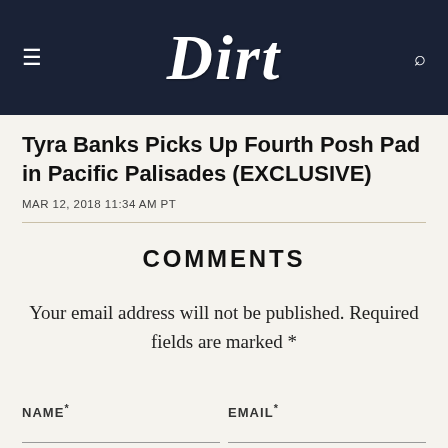Dirt
Tyra Banks Picks Up Fourth Posh Pad in Pacific Palisades (EXCLUSIVE)
MAR 12, 2018 11:34 AM PT
COMMENTS
Your email address will not be published. Required fields are marked *
NAME*
EMAIL*